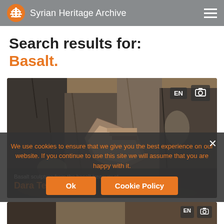Syrian Heritage Archive
Search results for:
Basalt.
[Figure (photo): Photograph of basalt stone ruins/temple blocks with carved relief decorations. Badge showing EN language option and camera icon in top right.]
Basalt sculpture from the basalt treasury at Dara Temple
We use cookies to ensure that we give you the best experience on our website. If you continue to use this site we will assume that you are happy with it.
[Figure (photo): Partial view of second search result image at bottom of page.]